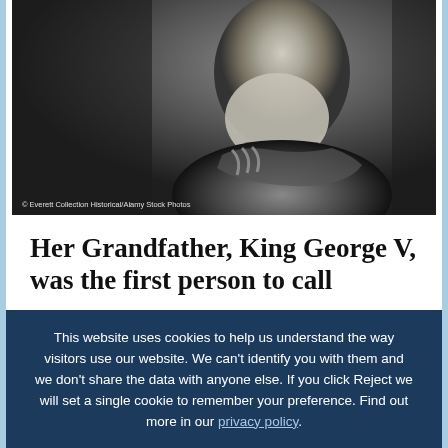[Figure (photo): Black and white historical photograph of an elderly bearded man in military or royal regalia, photographed in profile/three-quarter view. Watermark reads: © Everett Collection Historical/Alamy Stock Photos]
Her Grandfather, King George V, was the first person to call
This website uses cookies to help us understand the way visitors use our website. We can't identify you with them and we don't share the data with anyone else. If you click Reject we will set a single cookie to remember your preference. Find out more in our privacy policy.
Accept cookies
Reject cookies